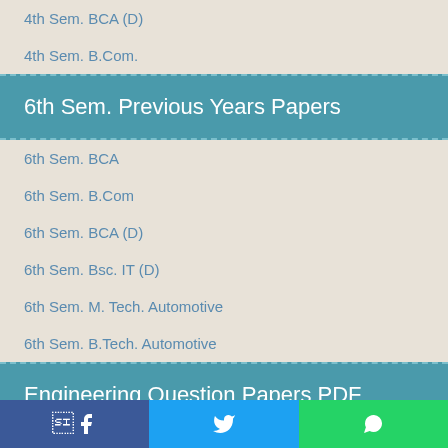4th Sem. BCA (D)
4th Sem. B.Com.
6th Sem. Previous Years Papers
6th Sem. BCA
6th Sem. B.Com
6th Sem. BCA (D)
6th Sem. Bsc. IT (D)
6th Sem. M. Tech. Automotive
6th Sem. B.Tech. Automotive
Engineering Question Papers PDF
GEO Informatics PDF